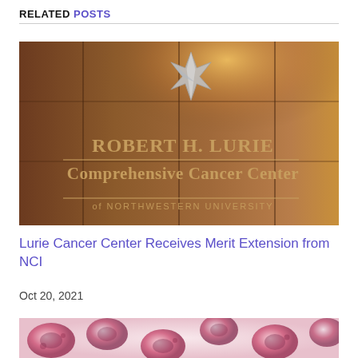RELATED POSTS
[Figure (photo): Robert H. Lurie Comprehensive Cancer Center of Northwestern University sign on a wooden wall with metallic star logo above]
Lurie Cancer Center Receives Merit Extension from NCI
Oct 20, 2021
[Figure (photo): Close-up microscopic image of pink and purple blood cells or cancer cells]